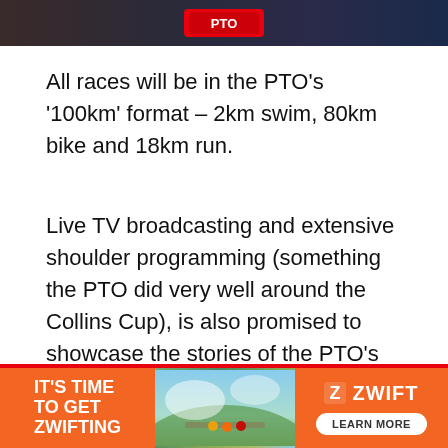[Figure (photo): Dark banner image at top of page showing athletes, partially visible with a red PTO logo overlay]
All races will be in the PTO's '100km' format – 2km swim, 80km bike and 18km run.
Live TV broadcasting and extensive shoulder programming (something the PTO did very well around the Collins Cup), is also promised to showcase the stories of the PTO's professional athletes.
[Figure (infographic): Zwift advertisement banner with orange background. Left section: 'IT'S TIME TO GET ZWIFTING' in white bold text. Middle section: photo of cyclists on a road. Right section: Zwift logo and 'LEARN MORE' button.]